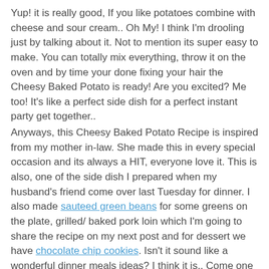Yup! it is really good, If you like potatoes combine with cheese and sour cream.. Oh My! I think I'm drooling just by talking about it. Not to mention its super easy to make. You can totally mix everything, throw it on the oven and by time your done fixing your hair the Cheesy Baked Potato is ready! Are you excited? Me too! It's like a perfect side dish for a perfect instant party get together..
Anyways, this Cheesy Baked Potato Recipe is inspired from my mother in-law. She made this in every special occasion and its always a HIT, everyone love it. This is also, one of the side dish I prepared when my husband's friend come over last Tuesday for dinner. I also made sauteed green beans for some greens on the plate, grilled/ baked pork loin which I'm going to share the recipe on my next post and for dessert we have chocolate chip cookies. Isn't it sound like a wonderful dinner meals ideas? I think it is.. Come one join me in my kitchen and ask your friends to come over and have a dinner get together kinda night...:)
Notes:
- Try to spice the recipe up by adding maybe some chopped ham or bacon and top it off with more cheese on top.